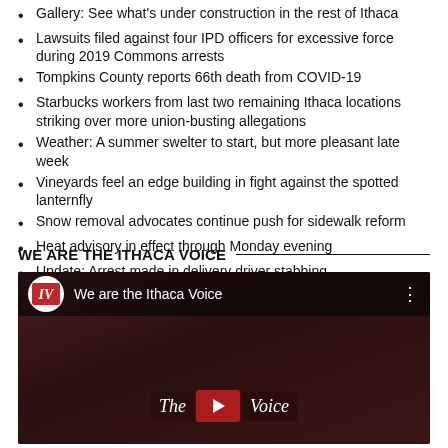Gallery: See what's under construction in the rest of Ithaca
Lawsuits filed against four IPD officers for excessive force during 2019 Commons arrests
Tompkins County reports 66th death from COVID-19
Starbucks workers from last two remaining Ithaca locations striking over more union-busting allegations
Weather: A summer swelter to start, but more pleasant late week
Vineyards feel an edge building in fight against the spotted lanternfly
Snow removal advocates continue push for sidewalk reform
Heat advisory in effect through Monday evening
Update: Arrest made in delivery driver stabbing
WE ARE THE ITHACA VOICE
[Figure (screenshot): YouTube-style embedded video thumbnail for 'We are the Ithaca Voice' with the Ithaca Voice IV logo, play button, and italic text 'The [play] Voice' overlay on a dark red background.]